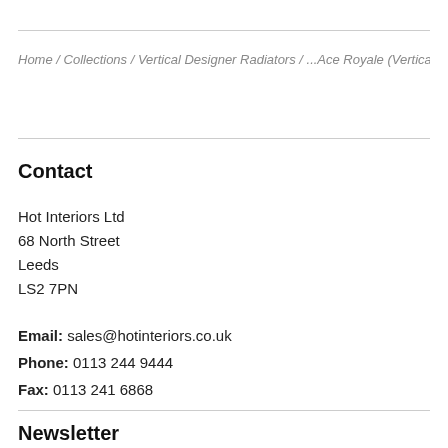Home / Collections / Vertical Designer Radiators / ...Ace Royale (Vertical) Sand
Contact
Hot Interiors Ltd
68 North Street
Leeds
LS2 7PN
Email: sales@hotinteriors.co.uk
Phone: 0113 244 9444
Fax: 0113 241 6868
Newsletter